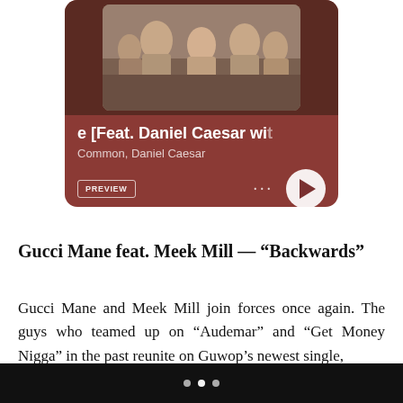[Figure (screenshot): Music app player card showing a song with partial title '[Feat. Daniel Caesar wi' by Common, Daniel Caesar on a dark red/burgundy background. Shows album art with people, a PREVIEW button, three dots menu, and a white play button.]
Gucci Mane feat. Meek Mill — “Backwards”
Gucci Mane and Meek Mill join forces once again. The guys who teamed up on “Audemar” and “Get Money Nigga” in the past reunite on Guwop’s newest single,
• • •